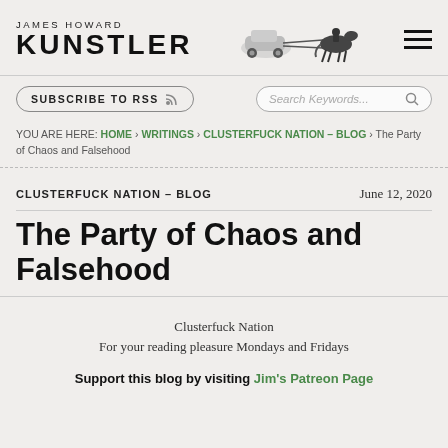JAMES HOWARD KUNSTLER
SUBSCRIBE TO RSS   Search Keywords...
YOU ARE HERE: HOME › WRITINGS › CLUSTERFUCK NATION – BLOG › The Party of Chaos and Falsehood
CLUSTERFUCK NATION – BLOG   June 12, 2020
The Party of Chaos and Falsehood
Clusterfuck Nation
For your reading pleasure Mondays and Fridays
Support this blog by visiting Jim's Patreon Page